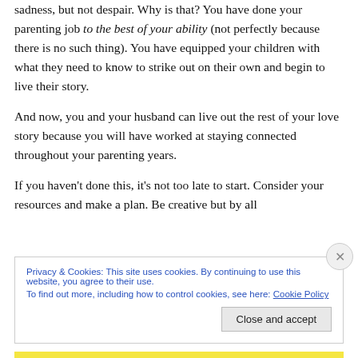sadness, but not despair. Why is that? You have done your parenting job to the best of your ability (not perfectly because there is no such thing). You have equipped your children with what they need to know to strike out on their own and begin to live their story.
And now, you and your husband can live out the rest of your love story because you will have worked at staying connected throughout your parenting years.
If you haven't done this, it's not too late to start. Consider your resources and make a plan. Be creative but by all
Privacy & Cookies: This site uses cookies. By continuing to use this website, you agree to their use.
To find out more, including how to control cookies, see here: Cookie Policy